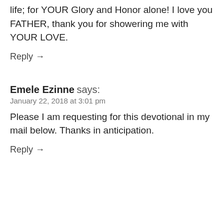life; for YOUR Glory and Honor alone! I love you FATHER, thank you for showering me with YOUR LOVE.
Reply →
Emele Ezinne says:
January 22, 2018 at 3:01 pm
Please I am requesting for this devotional in my mail below. Thanks in anticipation.
Reply →